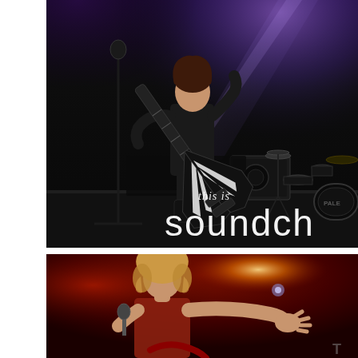[Figure (photo): Concert photo: guitarist on dark stage playing a black and white electric guitar under purple spotlight beam. Text overlay reads 'this is soundch' (partially cropped). Drum kit visible in background right.]
[Figure (photo): Concert photo: singer with curly blonde hair performing under red stage lighting with arms outstretched and a bright light source in upper right background.]